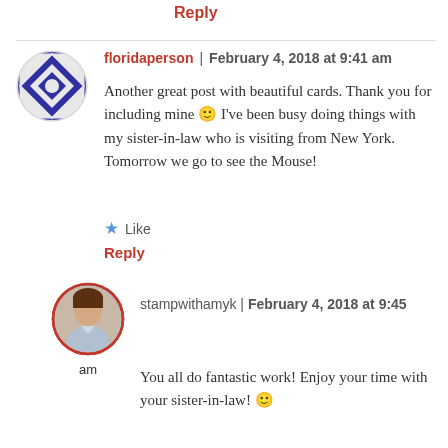Reply
floridaperson | February 4, 2018 at 9:41 am
Another great post with beautiful cards. Thank you for including mine 🙂 I've been busy doing things with my sister-in-law who is visiting from New York. Tomorrow we go to see the Mouse!
Like
Reply
stampwithamyk | February 4, 2018 at 9:45 am
You all do fantastic work! Enjoy your time with your sister-in-law! 🙂